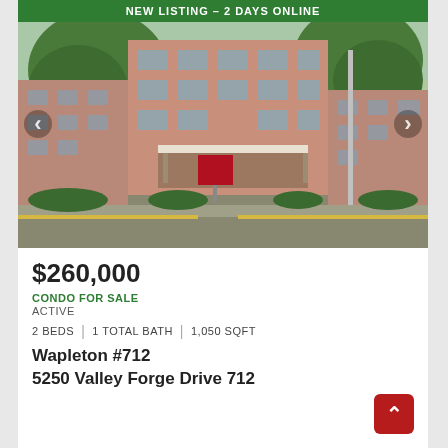[Figure (photo): Exterior photo of a multi-story brick condominium building with trees, landscaping, covered entrance, and a real estate sign in front. Green banner at top reads 'NEW LISTING – 2 DAYS ONLINE'.]
$260,000
CONDO FOR SALE
ACTIVE
2 BEDS | 1 TOTAL BATH | 1,050 SQFT
Wapleton #712
5250 Valley Forge Drive 712